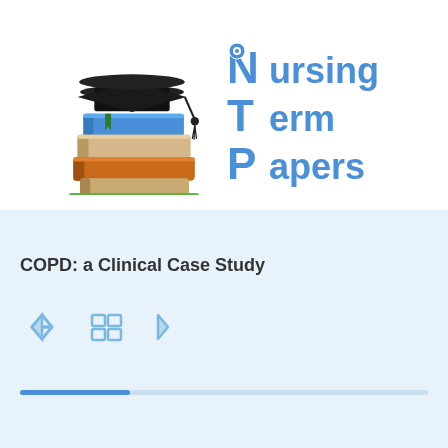Nursing Term Papers
[Figure (logo): Nursing Term Papers logo: stack of colorful books with graduation cap on left, and stylized blue text 'Nursing Term Papers' on right with monster-face icons on N, T, P letters]
COPD: a Clinical Case Study
[Figure (other): Navigation icons: left arrow, grid/home icon, right arrow; and a progress bar below]